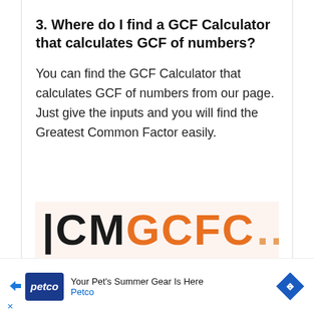3. Where do I find a GCF Calculator that calculates GCF of numbers?
You can find the GCF Calculator that calculates GCF of numbers from our page. Just give the inputs and you will find the Greatest Common Factor easily.
[Figure (screenshot): Partial view of a calculator logo or banner with large bold letters, dark and orange colored text partially visible at the bottom of the content area]